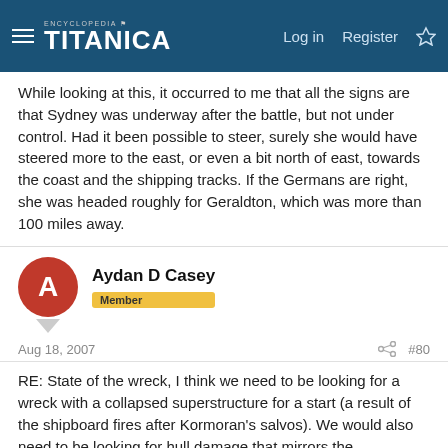Encyclopedia Titanica — Log in | Register
While looking at this, it occurred to me that all the signs are that Sydney was underway after the battle, but not under control. Had it been possible to steer, surely she would have steered more to the east, or even a bit north of east, towards the coast and the shipping tracks. If the Germans are right, she was headed roughly for Geraldton, which was more than 100 miles away.
Aydan D Casey
Member
Aug 18, 2007
#80
RE: State of the wreck, I think we need to be looking for a wreck with a collapsed superstructure for a start (a result of the shipboard fires after Kormoran's salvos). We would also need to be looking for hull damage that mirrors the recollections of the Kormoran crew.